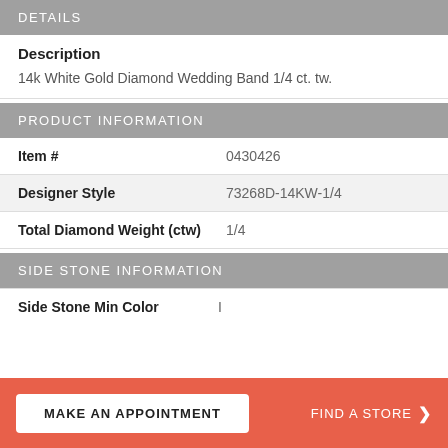DETAILS
Description

14k White Gold Diamond Wedding Band 1/4 ct. tw.
PRODUCT INFORMATION
| Field | Value |
| --- | --- |
| Item # | 0430426 |
| Designer Style | 73268D-14KW-1/4 |
| Total Diamond Weight (ctw) | 1/4 |
SIDE STONE INFORMATION
Side Stone Min Color
MAKE AN APPOINTMENT
FIND A STORE